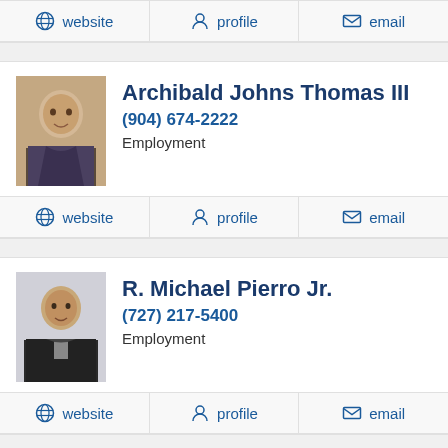website | profile | email (top partial card links)
Archibald Johns Thomas III
(904) 674-2222
Employment
website | profile | email
R. Michael Pierro Jr.
(727) 217-5400
Employment
website | profile | email
Yvette Everhart
(813) 251-5599